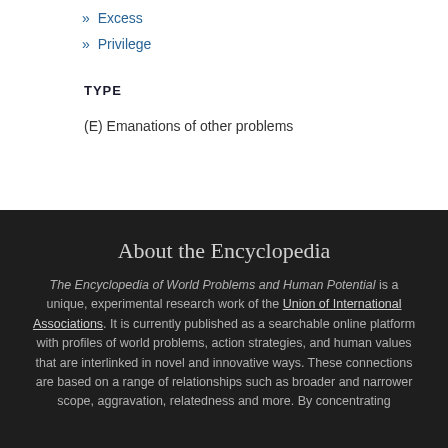» Excess
» Privilege
TYPE
(E) Emanations of other problems
About the Encyclopedia
The Encyclopedia of World Problems and Human Potential is a unique, experimental research work of the Union of International Associations. It is currently published as a searchable online platform with profiles of world problems, action strategies, and human values that are interlinked in novel and innovative ways. These connections are based on a range of relationships such as broader and narrower scope, aggravation, relatedness and more. By concentrating